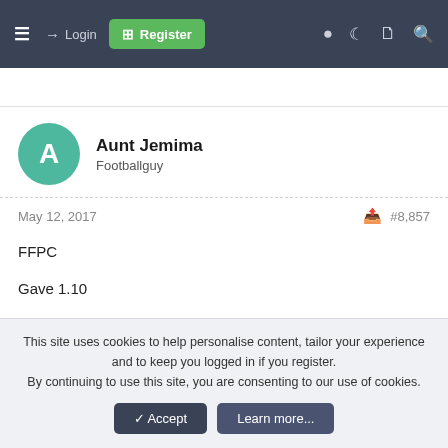≡  → Login  ⊞ Register  ◉  ☽  🗋  🔍
Aunt Jemima
Footballguy
May 12, 2017   #8,857
FFPC

Gave 1.10

Got 2.8, 2018 1st (call it random, best guess is fringe playoff team so could be 1-12 in reality)
This site uses cookies to help personalise content, tailor your experience and to keep you logged in if you register.
By continuing to use this site, you are consenting to our use of cookies.
✓ Accept   Learn more...